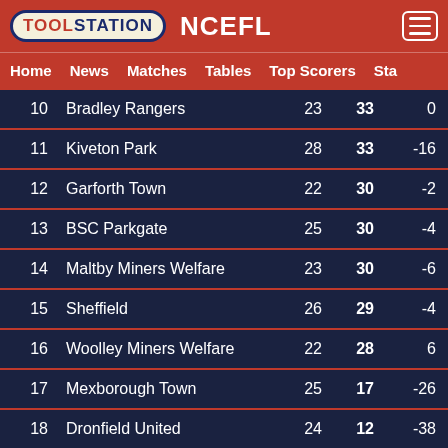TOOLSTATION NCEFL
Home | News | Matches | Tables | Top Scorers | Sta
| # | Team | P | Pts | +/- |
| --- | --- | --- | --- | --- |
| 10 | Bradley Rangers | 23 | 33 | 0 |
| 11 | Kiveton Park | 28 | 33 | -16 |
| 12 | Garforth Town | 22 | 30 | -2 |
| 13 | BSC Parkgate | 25 | 30 | -4 |
| 14 | Maltby Miners Welfare | 23 | 30 | -6 |
| 15 | Sheffield | 26 | 29 | -4 |
| 16 | Woolley Miners Welfare | 22 | 28 | 6 |
| 17 | Mexborough Town | 25 | 17 | -26 |
| 18 | Dronfield United | 24 | 12 | -38 |
NCEL Division Two    P    Pts    +/-